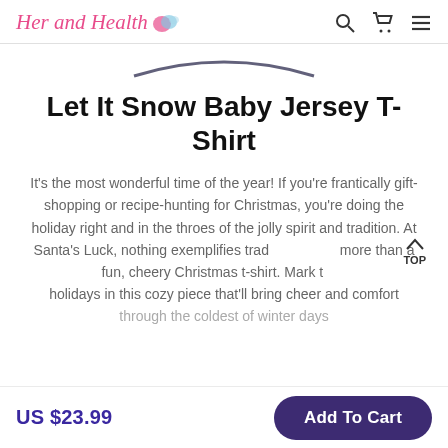Her and Health — navigation icons: search, cart, menu
[Figure (other): Partial arc/curve of product image top visible at top of content area]
Let It Snow Baby Jersey T-Shirt
It's the most wonderful time of the year! If you're frantically gift-shopping or recipe-hunting for Christmas, you're doing the holiday right and in the throes of the jolly spirit and tradition. At Santa's Luck, nothing exemplifies trad more than a fun, cheery Christmas t-shirt. Mark t holidays in this cozy piece that'll bring cheer and comfort through the coldest of winter days
US $23.99
Add To Cart